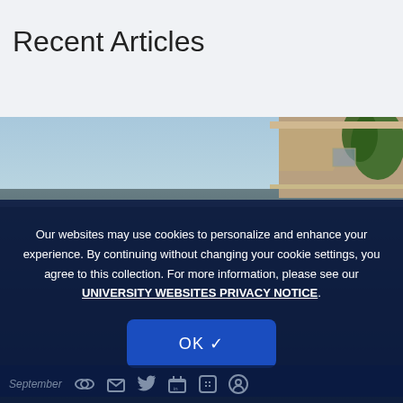Recent Articles
[Figure (photo): Outdoor photo showing a house rooftop and trees against a blue sky, partially obscured by a dark overlay with a cookie consent popup]
Our websites may use cookies to personalize and enhance your experience. By continuing without changing your cookie settings, you agree to this collection. For more information, please see our UNIVERSITY WEBSITES PRIVACY NOTICE.
OK ✓
September